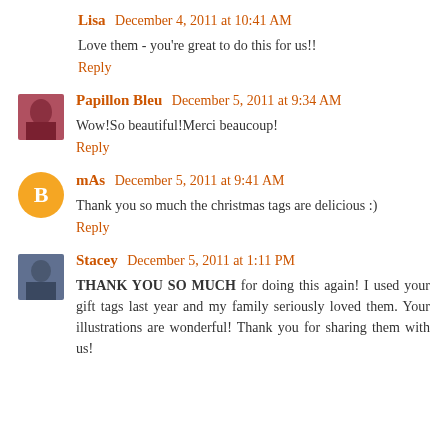Lisa  December 4, 2011 at 10:41 AM
Love them - you're great to do this for us!!
Reply
Papillon Bleu  December 5, 2011 at 9:34 AM
Wow!So beautiful!Merci beaucoup!
Reply
mAs  December 5, 2011 at 9:41 AM
Thank you so much the christmas tags are delicious :)
Reply
Stacey  December 5, 2011 at 1:11 PM
THANK YOU SO MUCH for doing this again! I used your gift tags last year and my family seriously loved them. Your illustrations are wonderful! Thank you for sharing them with us!